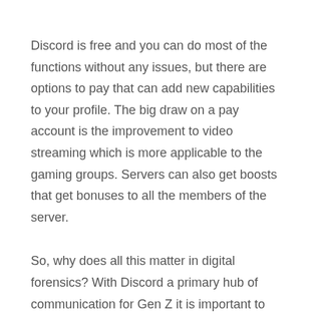Discord is free and you can do most of the functions without any issues, but there are options to pay that can add new capabilities to your profile. The big draw on a pay account is the improvement to video streaming which is more applicable to the gaming groups. Servers can also get boosts that get bonuses to all the members of the server.
So, why does all this matter in digital forensics? With Discord a primary hub of communication for Gen Z it is important to include such information in your investigation. However, investigating Discord can be tricky with the methods it authenticates.